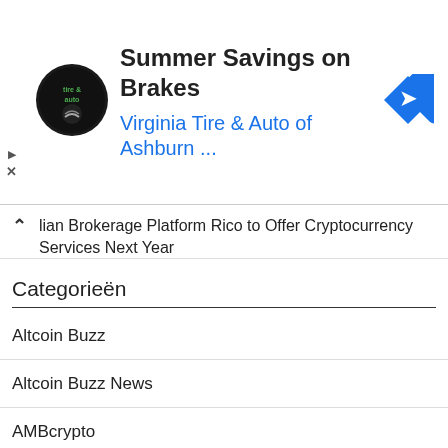[Figure (infographic): Ad banner: Virginia Tire & Auto logo (circular black badge), title 'Summer Savings on Brakes', subtitle 'Virginia Tire & Auto of Ashburn ...', blue navigation arrow diamond icon on the right. Ad controls (play triangle and X) on the left edge.]
lian Brokerage Platform Rico to Offer Cryptocurrency Services Next Year
Categorieën
Altcoin Buzz
Altcoin Buzz News
AMBcrypto
Bitcoin.com
Bitcoinist